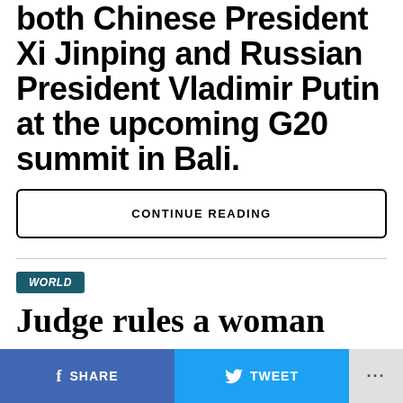both Chinese President Xi Jinping and Russian President Vladimir Putin at the upcoming G20 summit in Bali.
CONTINUE READING
WORLD
Judge rules a woman wore
SHARE   TWEET   ...